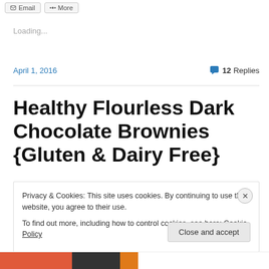Email | More
Loading...
April 1, 2016 | 12 Replies
Healthy Flourless Dark Chocolate Brownies {Gluten & Dairy Free}
Privacy & Cookies: This site uses cookies. By continuing to use this website, you agree to their use.
To find out more, including how to control cookies, see here: Cookie Policy
Close and accept